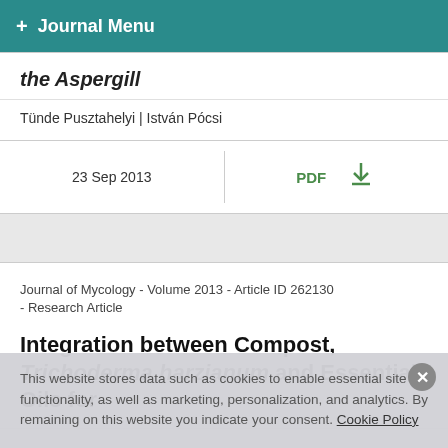+ Journal Menu
the Aspergill
Tünde Pusztahelyi | István Pócsi
23 Sep 2013
PDF
Journal of Mycology - Volume 2013 - Article ID 262130 - Research Article
Integration between Compost, Trichoderma harzianum and Essential Oils for
This website stores data such as cookies to enable essential site functionality, as well as marketing, personalization, and analytics. By remaining on this website you indicate your consent. Cookie Policy